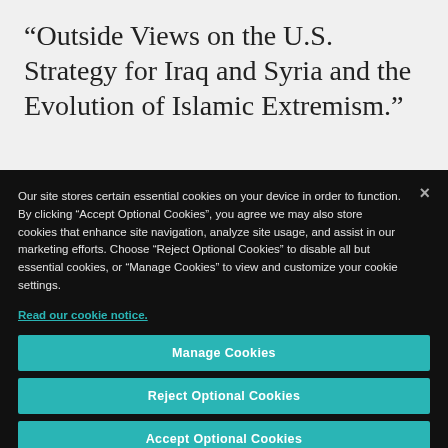“Outside Views on the U.S. Strategy for Iraq and Syria and the Evolution of Islamic Extremism.”
Our site stores certain essential cookies on your device in order to function. By clicking “Accept Optional Cookies”, you agree we may also store cookies that enhance site navigation, analyze site usage, and assist in our marketing efforts. Choose “Reject Optional Cookies” to disable all but essential cookies, or “Manage Cookies” to view and customize your cookie settings.
Read our cookie notice.
Manage Cookies
Reject Optional Cookies
Accept Optional Cookies